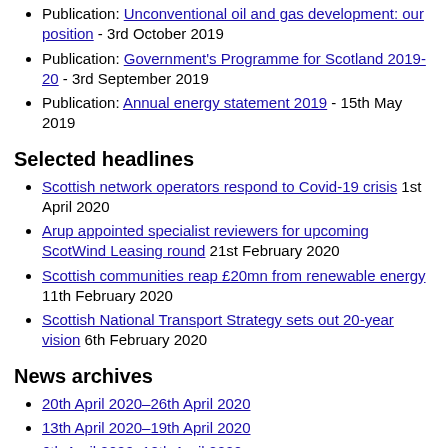Publication: Unconventional oil and gas development: our position - 3rd October 2019
Publication: Government's Programme for Scotland 2019-20 - 3rd September 2019
Publication: Annual energy statement 2019 - 15th May 2019
Selected headlines
Scottish network operators respond to Covid-19 crisis 1st April 2020
Arup appointed specialist reviewers for upcoming ScotWind Leasing round 21st February 2020
Scottish communities reap £20mn from renewable energy 11th February 2020
Scottish National Transport Strategy sets out 20-year vision 6th February 2020
News archives
20th April 2020–26th April 2020
13th April 2020–19th April 2020
6th April 2020–12th April 2020
30th March 2020–5th April 2020
23rd March 2020–29th March 2020